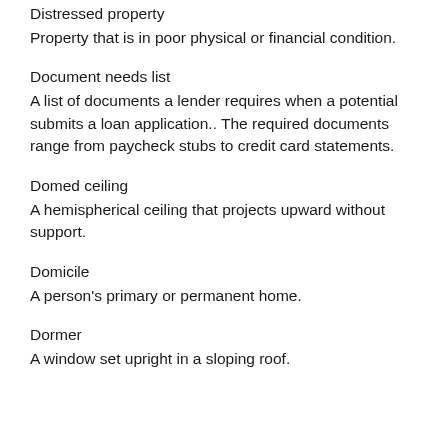Distressed property
Property that is in poor physical or financial condition.
Document needs list
A list of documents a lender requires when a potential submits a loan application.. The required documents range from paycheck stubs to credit card statements.
Domed ceiling
A hemispherical ceiling that projects upward without support.
Domicile
A person's primary or permanent home.
Dormer
A window set upright in a sloping roof.